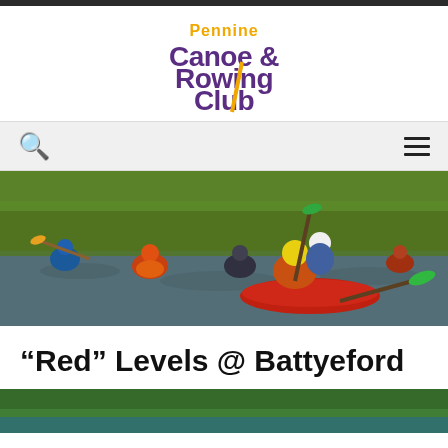[Figure (logo): Pennine Canoe & Rowing Club logo with purple and gold text]
[Figure (photo): Group of people kayaking and canoeing on a river in warm golden light, wearing helmets and life jackets]
“Red” Levels @ Battyeford
[Figure (photo): Partial bottom image strip showing outdoor water scene]